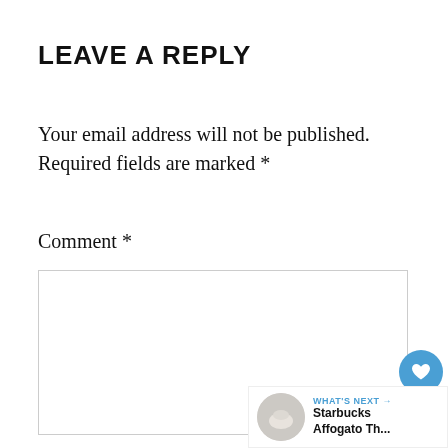LEAVE A REPLY
Your email address will not be published. Required fields are marked *
Comment *
[Figure (screenshot): Comment text area input field, empty white box with thin border]
[Figure (infographic): Social widget with heart/like button (blue circle, heart icon), count '1', and share button (circle with share icon)]
[Figure (infographic): What's Next card showing a thumbnail image and text 'WHAT'S NEXT → Starbucks Affogato Th...']